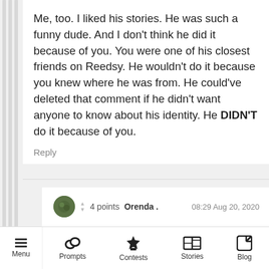Me, too. I liked his stories. He was such a funny dude. And I don't think he did it because of you. You were one of his closest friends on Reedsy. He wouldn't do it because you knew where he was from. He could've deleted that comment if he didn't want anyone to know about his identity. He DIDN'T do it because of you.
Reply
4 points  Orenda .  08:29 Aug 20, 2020
Auughh I miss him😢
Welp, I hope that's the reason. But why would he join reedsy in the first place if he didnt want anyone to know his identity?
Menu  Prompts  Contests  Stories  Blog